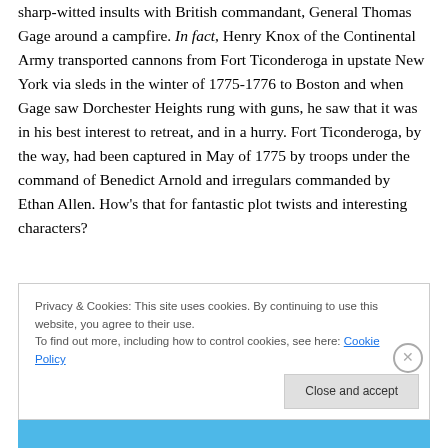sharp-witted insults with British commandant, General Thomas Gage around a campfire. In fact, Henry Knox of the Continental Army transported cannons from Fort Ticonderoga in upstate New York via sleds in the winter of 1775-1776 to Boston and when Gage saw Dorchester Heights rung with guns, he saw that it was in his best interest to retreat, and in a hurry. Fort Ticonderoga, by the way, had been captured in May of 1775 by troops under the command of Benedict Arnold and irregulars commanded by Ethan Allen. How's that for fantastic plot twists and interesting characters?
Privacy & Cookies: This site uses cookies. By continuing to use this website, you agree to their use.
To find out more, including how to control cookies, see here: Cookie Policy
Close and accept